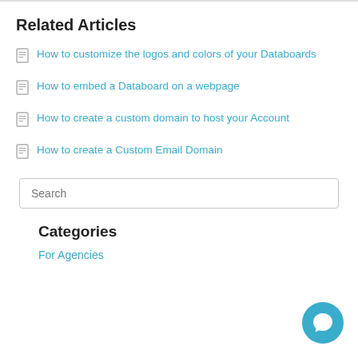Related Articles
How to customize the logos and colors of your Databoards
How to embed a Databoard on a webpage
How to create a custom domain to host your Account
How to create a Custom Email Domain
Categories
For Agencies